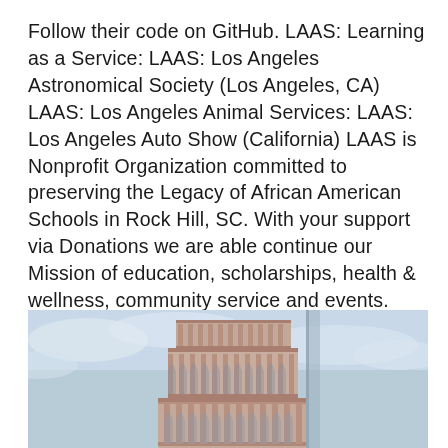Follow their code on GitHub. LAAS: Learning as a Service: LAAS: Los Angeles Astronomical Society (Los Angeles, CA) LAAS: Los Angeles Animal Services: LAAS: Los Angeles Auto Show (California) LAAS is Nonprofit Organization committed to preserving the Legacy of African American Schools in Rock Hill, SC. With your support via Donations we are able continue our Mission of education, scholarships, health & wellness, community service and events.
[Figure (photo): Close-up photograph of the Leaning Tower of Pisa showing its distinctive arched colonnades and marble exterior against a light blue cloudy sky.]